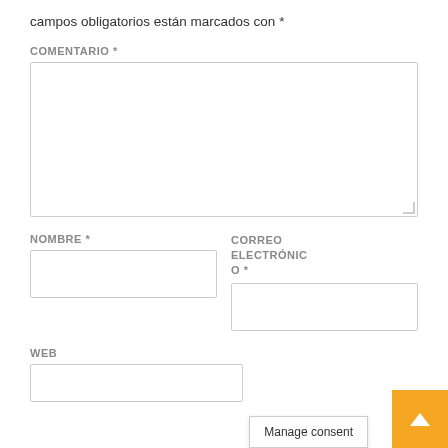campos obligatorios están marcados con *
COMENTARIO *
[Figure (screenshot): Empty textarea form field with resize handle]
NOMBRE *
[Figure (screenshot): Empty text input field for Nombre]
CORREO ELECTRÓNICO *
[Figure (screenshot): Empty text input field for Correo Electrónico]
WEB
[Figure (screenshot): Partial empty text input field for Web]
Manage consent
[Figure (screenshot): Orange back-to-top button with upward arrow]